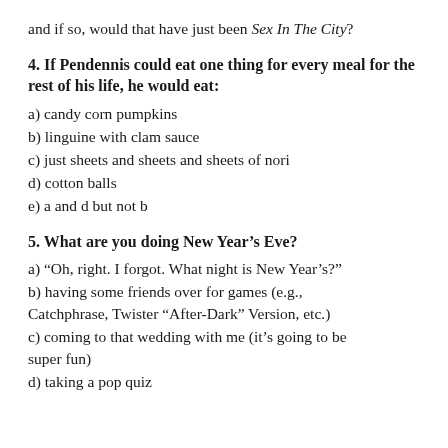and if so, would that have just been Sex In The City?
4. If Pendennis could eat one thing for every meal for the rest of his life, he would eat:
a) candy corn pumpkins
b) linguine with clam sauce
c) just sheets and sheets and sheets of nori
d) cotton balls
e) a and d but not b
5. What are you doing New Year's Eve?
a) “Oh, right. I forgot. What night is New Year’s?”
b) having some friends over for games (e.g., Catchphrase, Twister “After-Dark” Version, etc.)
c) coming to that wedding with me (it’s going to be super fun)
d) taking a pop quiz